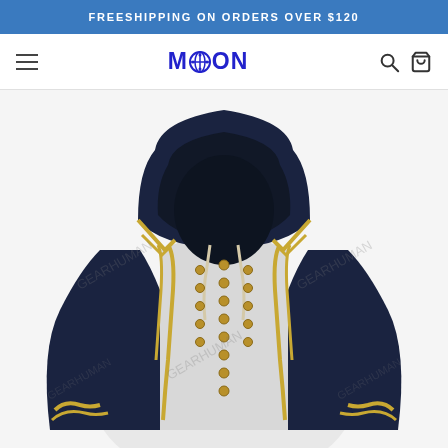FREESHIPPING ON ORDERS OVER $120
[Figure (logo): MOON brand logo with decorative globe icon in blue text]
[Figure (photo): A navy blue and white hoodie with gold military-style trim and buttons, styled to resemble a historical military uniform coat, displayed on a headless mannequin. Contains watermark text 'GEARHUMAN' repeated across the image.]